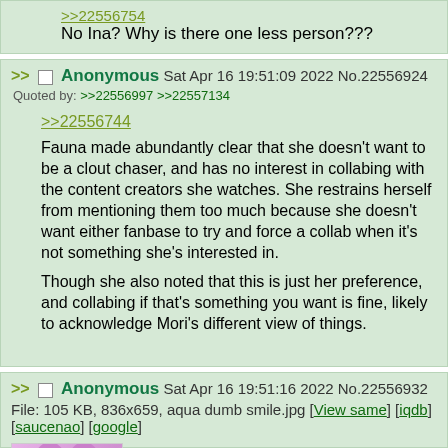>>22556754
No Ina? Why is there one less person???
>> Anonymous Sat Apr 16 19:51:09 2022 No.22556924
Quoted by: >>22556997 >>22557134

>>22556744
Fauna made abundantly clear that she doesn't want to be a clout chaser, and has no interest in collabing with the content creators she watches. She restrains herself from mentioning them too much because she doesn't want either fanbase to try and force a collab when it's not something she's interested in.

Though she also noted that this is just her preference, and collabing if that's something you want is fine, likely to acknowledge Mori's different view of things.
>> Anonymous Sat Apr 16 19:51:16 2022 No.22556932
File: 105 KB, 836x659, aqua dumb smile.jpg [View same] [iqdb] [saucenao] [google]
Quoted by: >>22556968